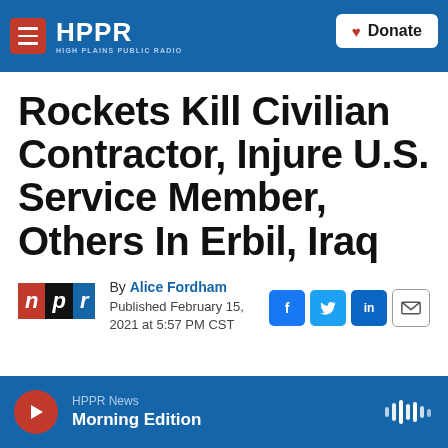HPPR HIGH PLAINS PUBLIC RADIO | Donate
Rockets Kill Civilian Contractor, Injure U.S. Service Member, Others In Erbil, Iraq
By Alice Fordham
Published February 15, 2021 at 5:57 PM CST
HPPR News Morning Edition